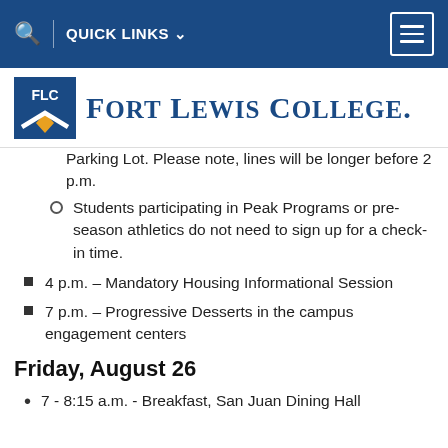QUICK LINKS
[Figure (logo): Fort Lewis College logo with FLC shield and college name in blue serif font]
Parking Lot. Please note, lines will be longer before 2 p.m.
Students participating in Peak Programs or pre-season athletics do not need to sign up for a check-in time.
4 p.m. – Mandatory Housing Informational Session
7 p.m. – Progressive Desserts in the campus engagement centers
Friday, August 26
7 - 8:15 a.m. - Breakfast, San Juan Dining Hall